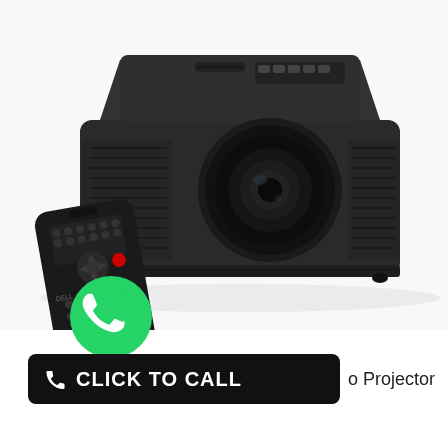[Figure (photo): A dark gray Dell projector with remote control placed in front of it, shown on a white background. The projector has a prominent lens in the center-right, ventilation grilles on the sides, and a control panel on top. The remote control is black with multiple buttons including a red power button.]
[Figure (logo): Green WhatsApp circular logo icon]
CLICK TO CALL  o Projector